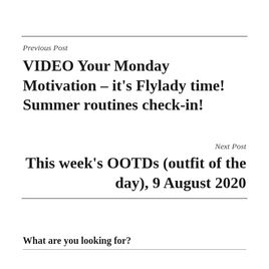Previous Post
VIDEO Your Monday Motivation – it's Flylady time! Summer routines check-in!
Next Post
This week's OOTDs (outfit of the day), 9 August 2020
What are you looking for?